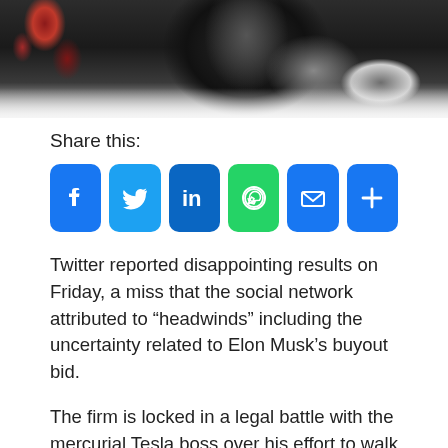[Figure (photo): Top portion of a person in a dark suit/tuxedo, partial photo cropped at the bottom showing collar area with red floral elements in background]
Share this:
[Figure (infographic): Row of social media share buttons: Facebook (blue), Twitter (light blue), LinkedIn (dark blue), WhatsApp (green), Email (blue envelope), More/Plus (blue)]
Twitter reported disappointing results on Friday, a miss that the social network attributed to “headwinds” including the uncertainty related to Elon Musk’s buyout bid.
The firm is locked in a legal battle with the mercurial Tesla boss over his effort to walk away from his $44 billion deal to purchase the platform, leaving the company in limbo.
Twitter missed expectations with revenue of $1.18 billion, due to “advertising industry headwinds…” as well as